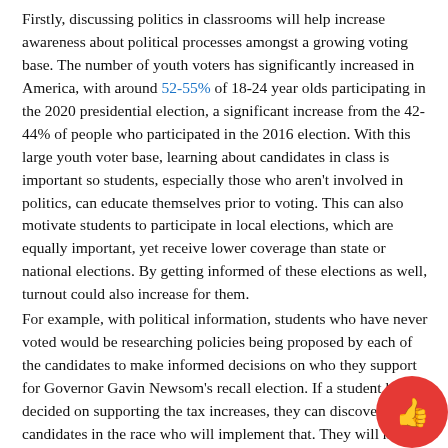Firstly, discussing politics in classrooms will help increase awareness about political processes amongst a growing voting base. The number of youth voters has significantly increased in America, with around 52-55% of 18-24 year olds participating in the 2020 presidential election, a significant increase from the 42-44% of people who participated in the 2016 election. With this large youth voter base, learning about candidates in class is important so students, especially those who aren't involved in politics, can educate themselves prior to voting. This can also motivate students to participate in local elections, which are equally important, yet receive lower coverage than state or national elections. By getting informed of these elections as well, turnout could also increase for them.
For example, with political information, students who have never voted would be researching policies being proposed by each of the candidates to make informed decisions on who they support for Governor Gavin Newsom's recall election. If a student has decided on supporting the tax increases, they can discover candidates in the race who will implement that. They will make an informed decision on who they support, further increasing voter turnout, since voters will be more enthusiastic to for candidates who they align with politically. Participation in democratic